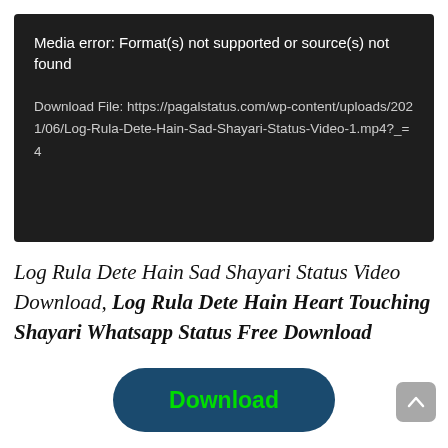[Figure (screenshot): Dark media player error box showing: 'Media error: Format(s) not supported or source(s) not found' and a download file URL for Log-Rula-Dete-Hain-Sad-Shayari-Status-Video-1.mp4]
Log Rula Dete Hain Sad Shayari Status Video Download, Log Rula Dete Hain Heart Touching Shayari Whatsapp Status Free Download
[Figure (illustration): Dark teal rounded rectangle Download button with green bold text 'Download']